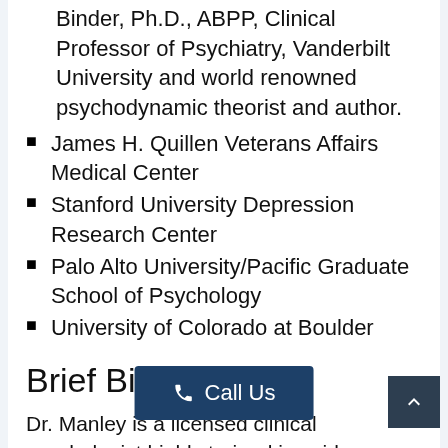Binder, Ph.D., ABPP, Clinical Professor of Psychiatry, Vanderbilt University and world renowned psychodynamic theorist and author.
James H. Quillen Veterans Affairs Medical Center
Stanford University Depression Research Center
Palo Alto University/Pacific Graduate School of Psychology
University of Colorado at Boulder
Brief Bio:
Dr. Manley is a licensed clinical psychologist highly trained in evidence-based psycho[logical] treatments (such